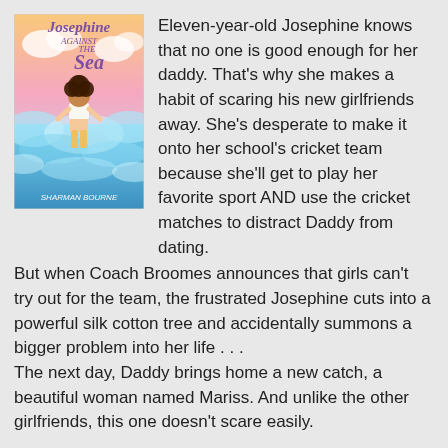[Figure (illustration): Book cover of 'Josephine Against the Sea' by Sharman Bourne, showing a girl standing amid swirling ocean waves with a colorful sky background.]
Eleven-year-old Josephine knows that no one is good enough for her daddy. That's why she makes a habit of scaring his new girlfriends away. She's desperate to make it onto her school's cricket team because she'll get to play her favorite sport AND use the cricket matches to distract Daddy from dating.
But when Coach Broomes announces that girls can't try out for the team, the frustrated Josephine cuts into a powerful silk cotton tree and accidentally summons a bigger problem into her life . . .
The next day, Daddy brings home a new catch, a beautiful woman named Mariss. And unlike the other girlfriends, this one doesn't scare easily.